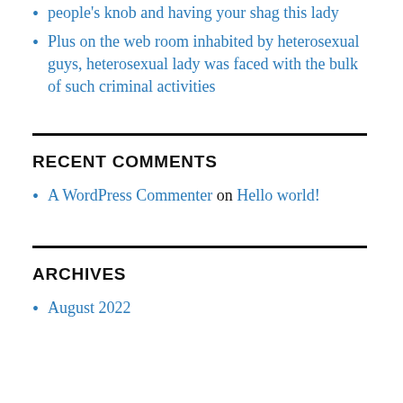people's knob and having your shag this lady
Plus on the web room inhabited by heterosexual guys, heterosexual lady was faced with the bulk of such criminal activities
RECENT COMMENTS
A WordPress Commenter on Hello world!
ARCHIVES
August 2022